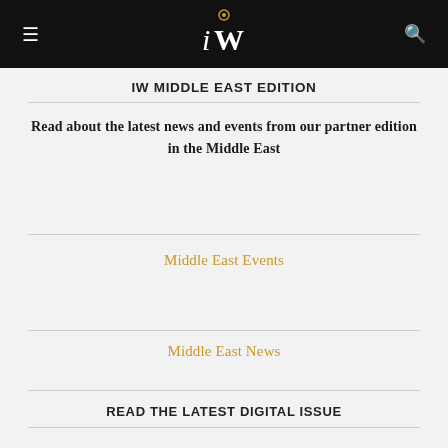iW (logo) — navigation bar with hamburger menu and search icon
IW MIDDLE EAST EDITION
Read about the latest news and events from our partner edition in the Middle East
Middle East Events
Middle East News
READ THE LATEST DIGITAL ISSUE